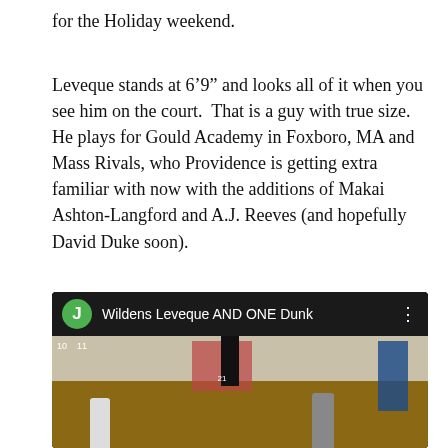for the Holiday weekend.
Leveque stands at 6’9” and looks all of it when you see him on the court.  That is a guy with true size.  He plays for Gould Academy in Foxboro, MA and Mass Rivals, who Providence is getting extra familiar with now with the additions of Makai Ashton-Langford and A.J. Reeves (and hopefully David Duke soon).
[Figure (screenshot): YouTube video thumbnail showing a basketball player dunking, titled 'Wildens Leveque AND ONE Dunk' with a green avatar circle showing 'J']